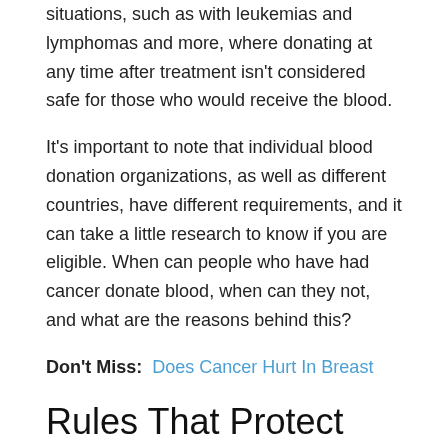situations, such as with leukemias and lymphomas and more, where donating at any time after treatment isn't considered safe for those who would receive the blood.
It's important to note that individual blood donation organizations, as well as different countries, have different requirements, and it can take a little research to know if you are eligible. When can people who have had cancer donate blood, when can they not, and what are the reasons behind this?
Don't Miss: Does Cancer Hurt In Breast
Rules That Protect Blood Donors
Aside from protecting those who receive donated blood, rules are also in place to protect people who want to donate.